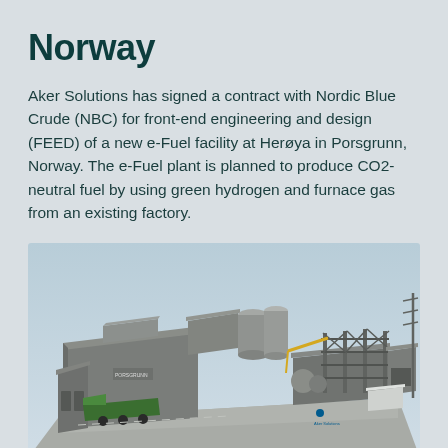Norway
Aker Solutions has signed a contract with Nordic Blue Crude (NBC) for front-end engineering and design (FEED) of a new e-Fuel facility at Herøya in Porsgrunn, Norway. The e-Fuel plant is planned to produce CO2-neutral fuel by using green hydrogen and furnace gas from an existing factory.
[Figure (illustration): 3D architectural rendering of an industrial e-Fuel facility with large grey buildings, cylindrical storage tanks, industrial equipment, scaffolding structures, and a green truck in the foreground. The facility appears to be a modern industrial plant complex.]